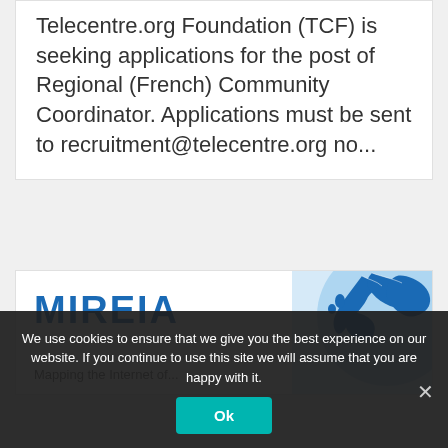Telecentre.org Foundation (TCF) is seeking applications for the post of Regional (French) Community Coordinator. Applications must be sent to recruitment@telecentre.org no...
[Figure (illustration): MIREIA banner with large blue bold text 'MIREIA' on the left and a blue globe/map illustration showing Europe and northern regions on the right]
We use cookies to ensure that we give you the best experience on our website. If you continue to use this site we will assume that you are happy with it.